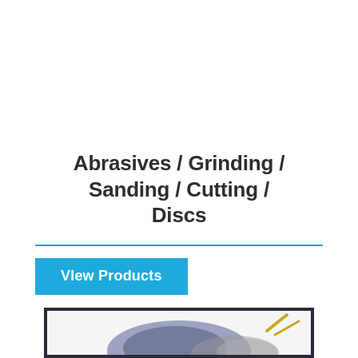Abrasives / Grinding / Sanding / Cutting / Discs
View Products
[Figure (photo): Product image of abrasive/grinding/cutting discs shown inside a dark-bordered frame, partially visible at the bottom of the page.]